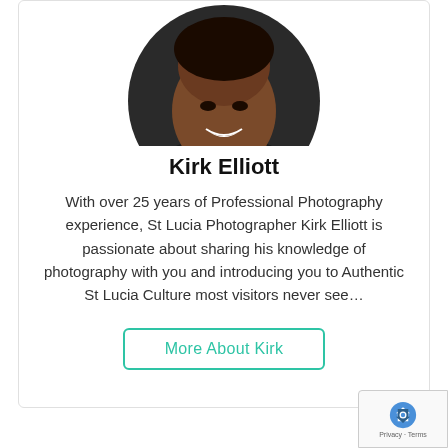[Figure (photo): Circular profile photo of Kirk Elliott, a man in a black jacket and t-shirt, smiling, with a gold chain necklace. The photo is cropped in a circle showing from shoulders up.]
Kirk Elliott
With over 25 years of Professional Photography experience, St Lucia Photographer Kirk Elliott is passionate about sharing his knowledge of photography with you and introducing you to Authentic St Lucia Culture most visitors never see…
More About Kirk